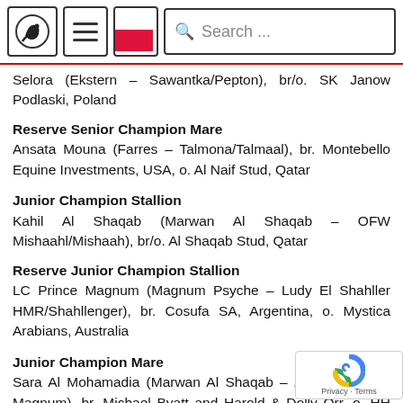[Horse logo] [Menu] [Poland flag] Search ...
Selora (Ekstern – Sawantka/Pepton), br/o. SK Janow Podlaski, Poland
Reserve Senior Champion Mare
Ansata Mouna (Farres – Talmona/Talmaal), br. Montebello Equine Investments, USA, o. Al Naif Stud, Qatar
Junior Champion Stallion
Kahil Al Shaqab (Marwan Al Shaqab – OFW Mishaahl/Mishaah), br/o. Al Shaqab Stud, Qatar
Reserve Junior Champion Stallion
LC Prince Magnum (Magnum Psyche – Ludy El Shahller HMR/Shahllenger), br. Cosufa SA, Argentina, o. Mystica Arabians, Australia
Junior Champion Mare
Sara Al Mohamadia (Marwan Al Shaqab – ZT Maghan/AB Magnum), br. Michael Byatt and Harold & Dolly Orr, o. HH Prince Abdullah Bin Fahd Abdullah Al Saud, Saudi Arabia
Reserve Junior Champion Mare
Kan Kan MAF (Elart – Katun/Crusader), br/o. Mar... Arabians, Spain